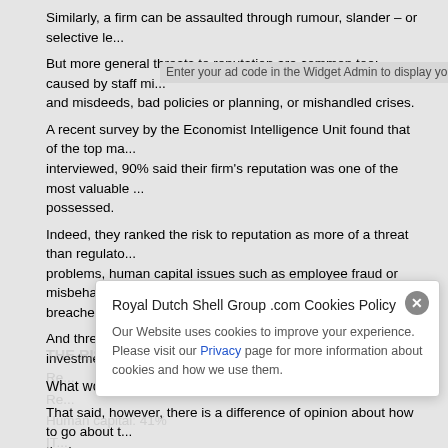Similarly, a firm can be assaulted through rumour, slander – or selective le...
But more general threats to reputation are common too: caused by staff mi... and misdeeds, bad policies or planning, or mishandled crises.
Enter your ad code in the Widget Admin to display your ads here
A recent survey by the Economist Intelligence Unit found that of the top ma... interviewed, 90% said their firm's reputation was one of the most valuable ... possessed.
Indeed, they ranked the risk to reputation as more of a threat than regulato... problems, human capital issues such as employee fraud or misbehaviour, ... breaches.
And three-quarters said reputational risk needed extra investment.
What works?
That said, however, there is a difference of opinion about how to go about t... the issue.
For some, reputational risk is a thing in and of itself – something which nee... addressed directly.
“It helps to tease out softer issues which can impact your reputation,” says
Ra... a consultant and writer on risk management. “That can be a really
sa...
THE RISKS MOST FEAR
Re...
Re...
Human capital: 41%
IT...
Royal Dutch Shell Group .com Cookies Policy
Our Website uses cookies to improve your experience. Please visit our Privacy page for more information about cookies and how we use them.